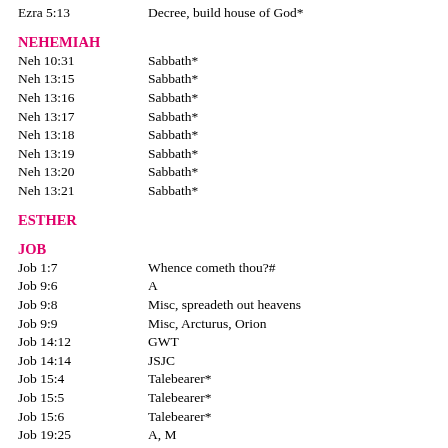Ezra 5:13 — Decree, build house of God*
NEHEMIAH
Neh 10:31 — Sabbath*
Neh 13:15 — Sabbath*
Neh 13:16 — Sabbath*
Neh 13:17 — Sabbath*
Neh 13:18 — Sabbath*
Neh 13:19 — Sabbath*
Neh 13:20 — Sabbath*
Neh 13:21 — Sabbath*
ESTHER
JOB
Job 1:7 — Whence cometh thou?#
Job 9:6 — A
Job 9:8 — Misc, spreadeth out heavens
Job 9:9 — Misc, Arcturus, Orion
Job 14:12 — GWT
Job 14:14 — JSJC
Job 15:4 — Talebearer*
Job 15:5 — Talebearer*
Job 15:6 — Talebearer*
Job 19:25 — A, M
Job 19:26 — H, M
Job 19:27 — H, M
Job 21:30 — T, A